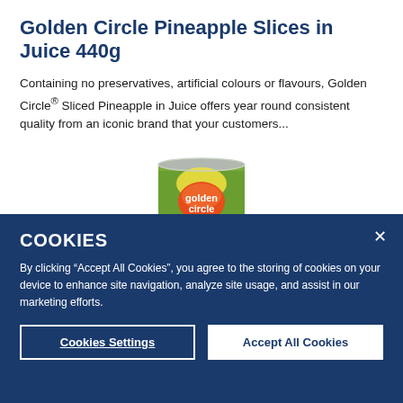Golden Circle Pineapple Slices in Juice 440g
Containing no preservatives, artificial colours or flavours, Golden Circle® Sliced Pineapple in Juice offers year round consistent quality from an iconic brand that your customers...
[Figure (illustration): Golden Circle branded can of Pineapple Slices in Juice, green label with orange/red Golden Circle logo]
COOKIES
By clicking "Accept All Cookies", you agree to the storing of cookies on your device to enhance site navigation, analyze site usage, and assist in our marketing efforts.
Cookies Settings | Accept All Cookies